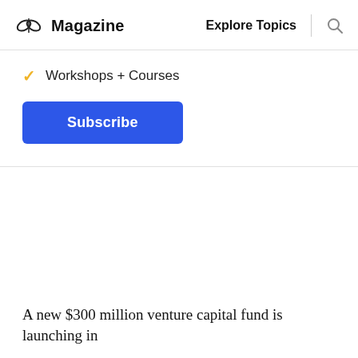Magazine   Explore Topics
✓ Workshops + Courses
Subscribe
A new $300 million venture capital fund is launching in